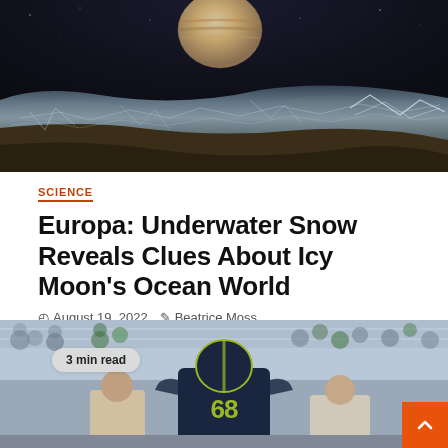[Figure (photo): Dramatic artistic rendering of Jupiter's moon Europa surface with icy, fractured terrain in foreground and Jupiter planet visible in dark space background above the horizon]
SCIENCE
Europa: Underwater Snow Reveals Clues About Icy Moon's Ocean World
August 19, 2022   Beatrice Moss
[Figure (photo): NFL football player wearing Seattle Seahawks jersey number 68 with navy blue uniform, fans visible in stadium bleachers in the background, player appears to be being assisted or carried off field]